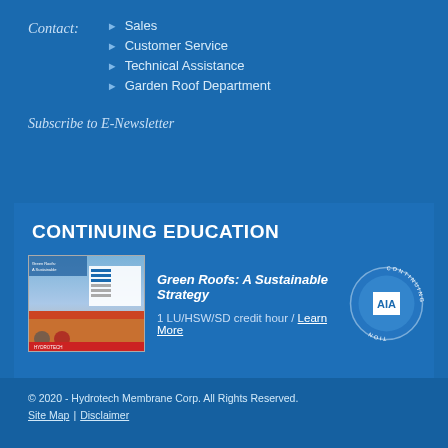Contact:
Sales
Customer Service
Technical Assistance
Garden Roof Department
Subscribe to E-Newsletter
CONTINUING EDUCATION
[Figure (photo): Book cover for 'Green Roofs: A Sustainable Strategy' continuing education course]
Green Roofs: A Sustainable Strategy
1 LU/HSW/SD credit hour / Learn More
[Figure (logo): AIA Continuing Education circular badge with AIA logo]
© 2020 - Hydrotech Membrane Corp. All Rights Reserved.
Site Map | Disclaimer